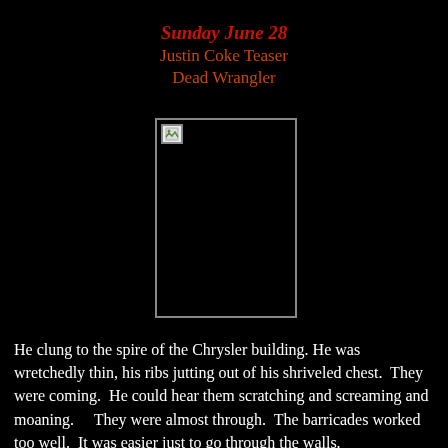Sunday June 28
Justin Coke Teaser
Dead Wrangler
[Figure (photo): A broken/missing image placeholder shown as a small icon with border on a black background]
He clung to the spire of the Chrysler building. He was wretchedly thin, his ribs jutting out of his shriveled chest.  They were coming.  He could hear them scratching and screaming and moaning.    They were almost through.  The barricades worked too well.  It was easier just to go through the walls.
   He had almost Enough time, he'd calculated, to heal his discs and go down